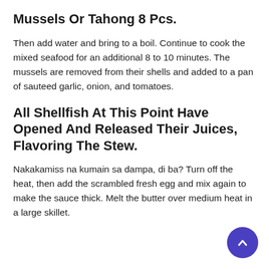Mussels Or Tahong 8 Pcs.
Then add water and bring to a boil. Continue to cook the mixed seafood for an additional 8 to 10 minutes. The mussels are removed from their shells and added to a pan of sauteed garlic, onion, and tomatoes.
All Shellfish At This Point Have Opened And Released Their Juices, Flavoring The Stew.
Nakakamiss na kumain sa dampa, di ba? Turn off the heat, then add the scrambled fresh egg and mix again to make the sauce thick. Melt the butter over medium heat in a large skillet.